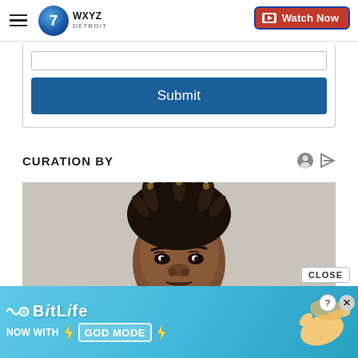WXYZ Detroit — Watch Now
Submit
CURATION BY
[Figure (photo): Close-up portrait of a young Black woman with natural dreadlocks styled upward, looking at the camera against a light background]
[Figure (infographic): BitLife advertisement banner: 'BitLife — NOW WITH GOD MODE' on a teal/blue gradient background with hand graphics pointing, close button and X icon visible]